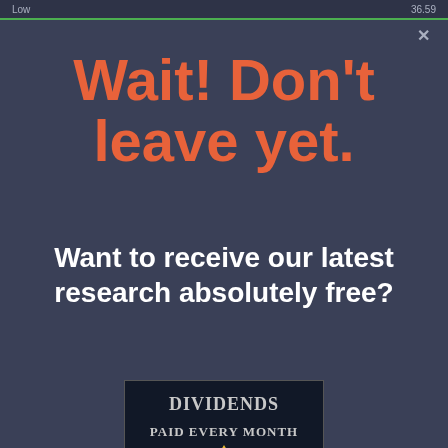Low   36.59
Wait! Don't leave yet.
Want to receive our latest research absolutely free?
[Figure (illustration): Book cover with dark background showing text 'DIVIDENDS PAID EVERY MONTH' with decorative elements and a gold badge/seal at the bottom]